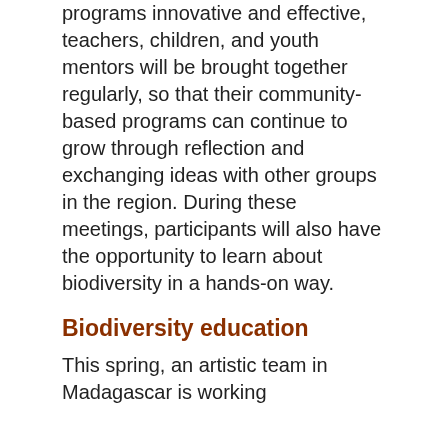programs innovative and effective, teachers, children, and youth mentors will be brought together regularly, so that their community-based programs can continue to grow through reflection and exchanging ideas with other groups in the region. During these meetings, participants will also have the opportunity to learn about biodiversity in a hands-on way.
Biodiversity education
This spring, an artistic team in Madagascar is working